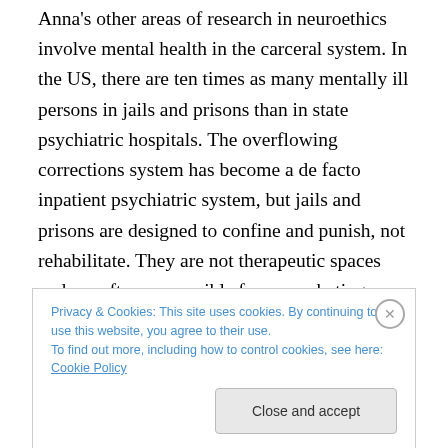Anna's other areas of research in neuroethics involve mental health in the carceral system. In the US, there are ten times as many mentally ill persons in jails and prisons than in state psychiatric hospitals. The overflowing corrections system has become a de facto inpatient psychiatric system, but jails and prisons are designed to confine and punish, not rehabilitate. They are not therapeutic spaces and are often responsible for exacerbating illness. Correctional mental healthcare—and the widespread trend toward privatizing these services—is an under-appreciated problem in the field.
Privacy & Cookies: This site uses cookies. By continuing to use this website, you agree to their use.
To find out more, including how to control cookies, see here: Cookie Policy